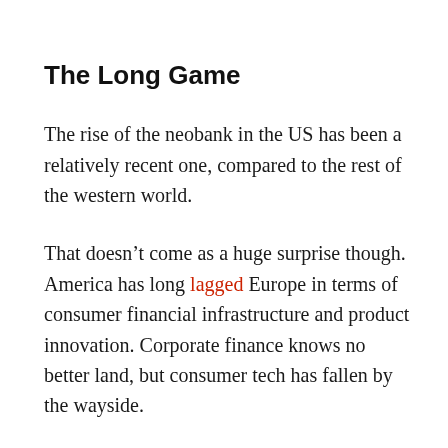The Long Game
The rise of the neobank in the US has been a relatively recent one, compared to the rest of the western world.
That doesn't come as a huge surprise though. America has long lagged Europe in terms of consumer financial infrastructure and product innovation. Corporate finance knows no better land, but consumer tech has fallen by the wayside.